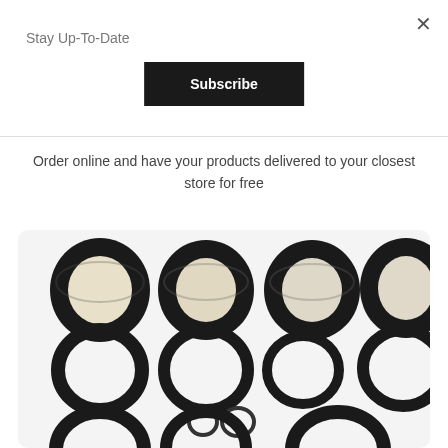Stay Up-To-Date
Subscribe
Order online and have your products delivered to your closest store for free
[Figure (photo): A collection of rubber O-rings of various sizes arranged in a grid pattern on a white background inside a rounded rectangle card. Top row shows 4 large black O-rings with metallic sheen. Middle row shows 4 medium plain black O-rings. Below are 2 tiny small O-rings and partial O-rings at the bottom.]